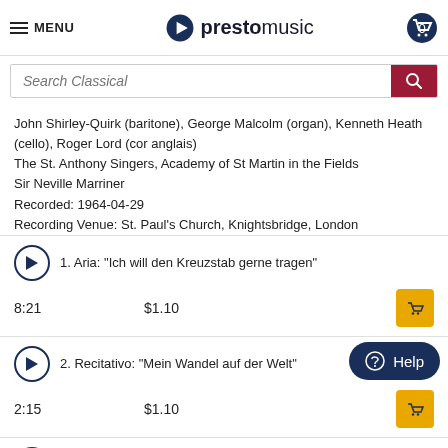MENU | prestomusic | 0
John Shirley-Quirk (baritone), George Malcolm (organ), Kenneth Heath (cello), Roger Lord (cor anglais)
The St. Anthony Singers, Academy of St Martin in the Fields
Sir Neville Marriner
Recorded: 1964-04-29
Recording Venue: St. Paul's Church, Knightsbridge, London
1. Aria: "Ich will den Kreuzstab gerne tragen"
8:21  $1.10
2. Recitativo: "Mein Wandel auf der Welt"
2:15  $1.10
3. Aria: "Endlich, endlich wird mein Joch"
7:42  $1.10